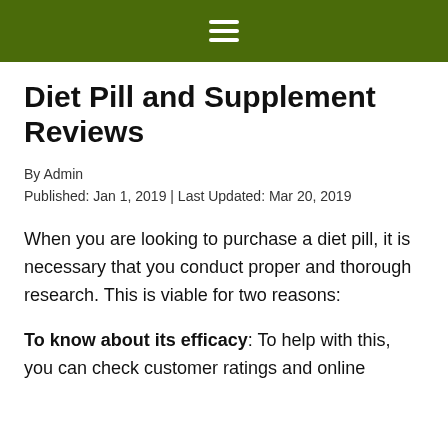≡
Diet Pill and Supplement Reviews
By Admin
Published: Jan 1, 2019 | Last Updated: Mar 20, 2019
When you are looking to purchase a diet pill, it is necessary that you conduct proper and thorough research. This is viable for two reasons:
To know about its efficacy: To help with this, you can check customer ratings and online